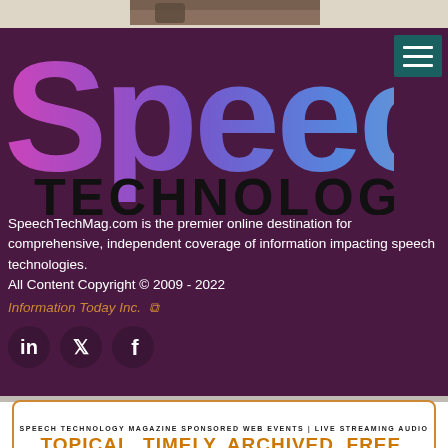[Figure (photo): Partial image of person holding phone at top of page]
[Figure (logo): Speech Technology magazine logo with gradient purple-blue 'Speech' text and dark 'TECHNOLOGY' below, on dark purple background with hamburger menu icon]
SpeechTechMag.com is the premier online destination for comprehensive, independent coverage of information impacting speech technologies.
All Content Copyright © 2009 - 2022
Information Today Inc. ↗
[Figure (infographic): Social media icons: LinkedIn, Twitter, Facebook on dark circles]
[Figure (infographic): Advertisement banner: SPEECH TECHNOLOGY MAGAZINE SPONSORED WEB EVENTS | LIVE STREAMING AUDIO — TOPICAL. TIMELY. ARCHIVED. FREE.]
GET SPEECHTECH EWEEKLY IN YOUR INBOX - SIGN UP FOR FREE